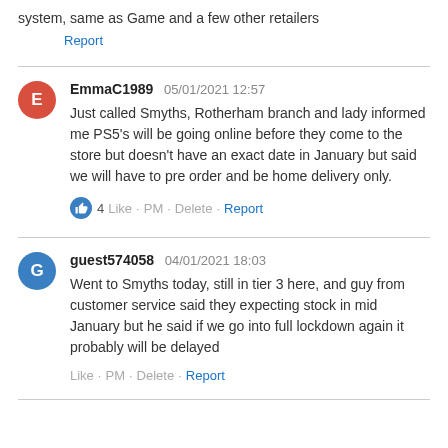system, same as Game and a few other retailers
Report
EmmaC1989 05/01/2021 12:57
Just called Smyths, Rotherham branch and lady informed me PS5's will be going online before they come to the store but doesn't have an exact date in January but said we will have to pre order and be home delivery only.
4 Like · PM · Delete · Report
guest574058 04/01/2021 18:03
Went to Smyths today, still in tier 3 here, and guy from customer service said they expecting stock in mid January but he said if we go into full lockdown again it probably will be delayed
Like · PM · Delete · Report